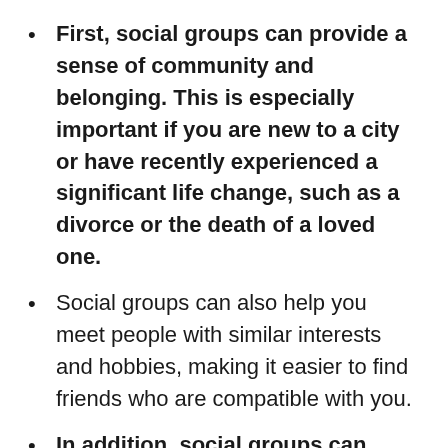First, social groups can provide a sense of community and belonging. This is especially important if you are new to a city or have recently experienced a significant life change, such as a divorce or the death of a loved one.
Social groups can also help you meet people with similar interests and hobbies, making it easier to find friends who are compatible with you.
In addition, social groups can offer support and advice on topics such as parenting, careers, and relationships.